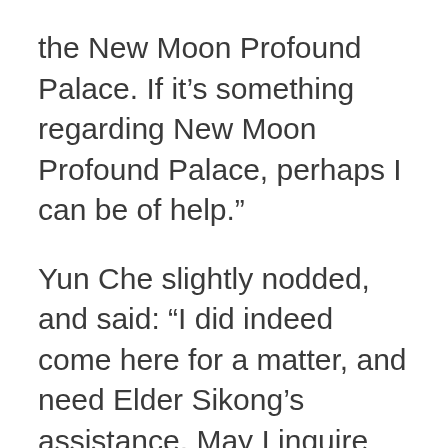the New Moon Profound Palace. If it’s something regarding New Moon Profound Palace, perhaps I can be of help.”
Yun Che slightly nodded, and said: “I did indeed come here for a matter, and need Elder Sikong’s assistance. May I inquire where is he currently?”
“My father?” Sikong Du stopped for a bit, then said: “Father just